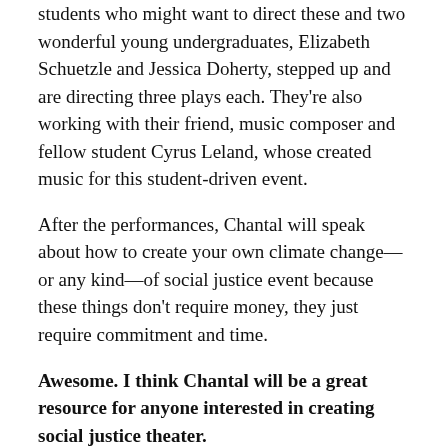students who might want to direct these and two wonderful young undergraduates, Elizabeth Schuetzle and Jessica Doherty, stepped up and are directing three plays each. They're also working with their friend, music composer and fellow student Cyrus Leland, whose created music for this student-driven event.
After the performances, Chantal will speak about how to create your own climate change—or any kind—of social justice event because these things don't require money, they just require commitment and time.
Awesome. I think Chantal will be a great resource for anyone interested in creating social justice theater.
Absolutely. And, I think this is something all playwrights, and everybody, should step up and do at least once—create some kind of grassroots action to make the world a better place. If you sit around and wait for someone else to do it,